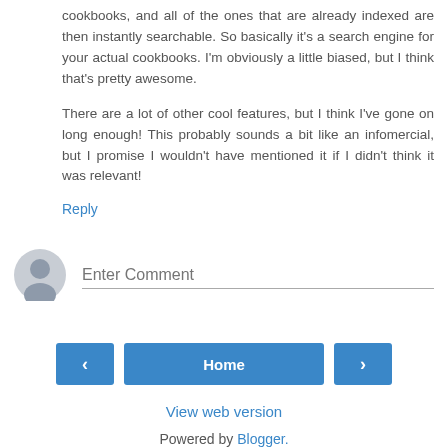cookbooks, and all of the ones that are already indexed are then instantly searchable. So basically it's a search engine for your actual cookbooks. I'm obviously a little biased, but I think that's pretty awesome.
There are a lot of other cool features, but I think I've gone on long enough! This probably sounds a bit like an infomercial, but I promise I wouldn't have mentioned it if I didn't think it was relevant!
Reply
[Figure (other): User avatar icon (grey silhouette) next to an Enter Comment input field]
[Figure (other): Navigation bar with left arrow button, Home button, and right arrow button]
View web version
Powered by Blogger.